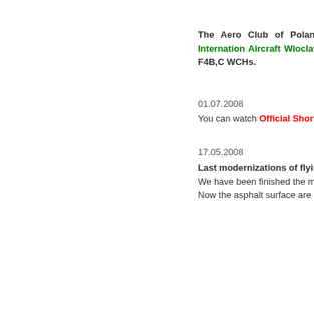The Aero Club of Poland and the to compete in Open Internation Aircraft Wloclawek 2008. This c with the 20th FAI F4B,C WCHs.
01.07.2008 You can watch Official Short Sch 2008.
17.05.2008 Last modernizations of flying faci We have been finished the modeni F4C class lately. Now the asphalt surface are 120mx95mx85m/.